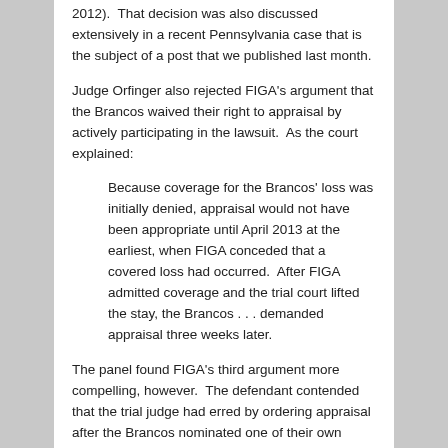2012).  That decision was also discussed extensively in a recent Pennsylvania case that is the subject of a post that we published last month.
Judge Orfinger also rejected FIGA's argument that the Brancos waived their right to appraisal by actively participating in the lawsuit.  As the court explained:
Because coverage for the Brancos' loss was initially denied, appraisal would not have been appropriate until April 2013 at the earliest, when FIGA conceded that a covered loss had occurred.  After FIGA admitted coverage and the trial court lifted the stay, the Brancos . . . demanded appraisal three weeks later.
The panel found FIGA's third argument more compelling, however.  The defendant contended that the trial judge had erred by ordering appraisal after the Brancos nominated one of their own attorneys as an appraiser, and the Court of Appeals agreed that that was improper